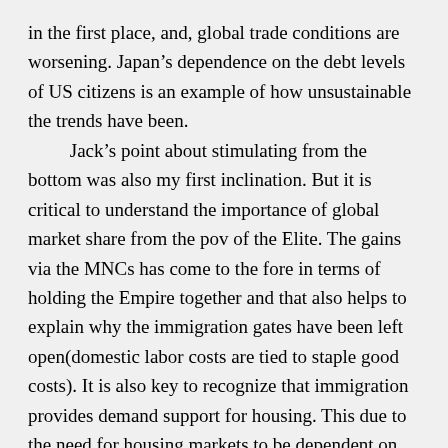in the first place, and, global trade conditions are worsening. Japan's dependence on the debt levels of US citizens is an example of how unsustainable the trends have been.

Jack's point about stimulating from the bottom was also my first inclination. But it is critical to understand the importance of global market share from the pov of the Elite. The gains via the MNCs has come to the fore in terms of holding the Empire together and that also helps to explain why the immigration gates have been left open(domestic labor costs are tied to staple good costs). It is also key to recognize that immigration provides demand support for housing. This due to the need for housing markets to be dependent on upward trading dynamics and rents. ( I am not advocating any of this)